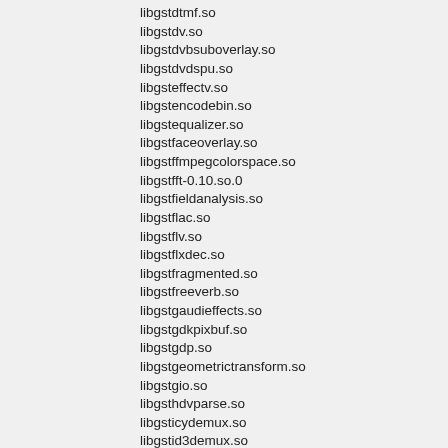libgstdtmf.so
libgstdv.so
libgstdvbsuboverlay.so
libgstdvdspu.so
libgsteffectv.so
libgstencodebin.so
libgstequalizer.so
libgstfaceoverlay.so
libgstffmpegcolorspace.so
libgstfft-0.10.so.0
libgstfieldanalysis.so
libgstflac.so
libgstflv.so
libgstflxdec.so
libgstfragmented.so
libgstfreeverb.so
libgstgaudieffects.so
libgstgdkpixbuf.so
libgstgdp.so
libgstgeometrictransform.so
libgstgio.so
libgsthdvparse.so
libgsticydemux.so
libgstid3demux.so
libgstid3tag.so
libgstimagefreeze.so
libgstinterfaces-0.10.so.0
libgstinterlace.so
libgstinterleave.so
libgstisomp4.so
libgstivfparse.so
libgstjp2k.so